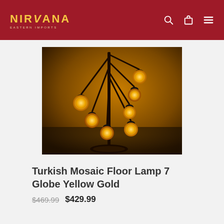NIRVANA EASTERN IMPORTS
[Figure (photo): Turkish mosaic floor lamp with 7 globe lights in yellow gold, photographed against a warm amber lit background. Black metal frame with multiple hanging arms, each ending in ornate mosaic glass globe shades.]
Turkish Mosaic Floor Lamp 7 Globe Yellow Gold
$469.99  $429.99